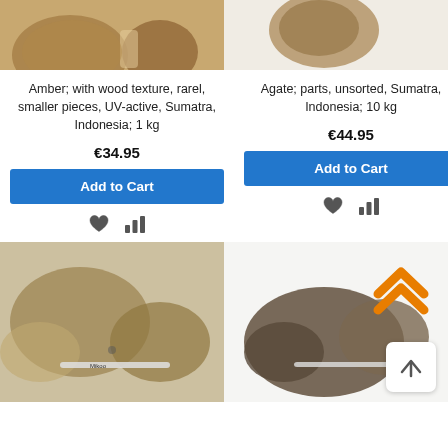[Figure (photo): Amber rocks with wood texture, Sumatra Indonesia - product photo showing two brown rocky pieces]
[Figure (photo): Agate parts unsorted, Sumatra Indonesia - product photo showing brown rocky piece against white background]
Amber; with wood texture, rarel, smaller pieces, UV-active, Sumatra, Indonesia; 1 kg
Agate; parts, unsorted, Sumatra, Indonesia; 10 kg
€34.95
€44.95
Add to Cart
Add to Cart
[Figure (photo): Mixed rocks/minerals with pen for scale - bottom left product photo]
[Figure (photo): Dark rocks pile with pen for scale - bottom right product photo]